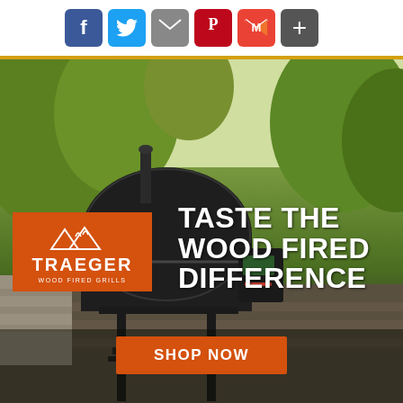[Figure (infographic): Social share buttons: Facebook (blue), Twitter (light blue), Email (grey envelope), Pinterest (red), Gmail (red M), More/Plus (dark grey)]
[Figure (photo): Traeger wood-fired grill advertisement. Black pellet grill on patio with green trees in background. Orange Traeger logo badge bottom-left. White bold text: TASTE THE WOOD FIRED DIFFERENCE. Orange SHOP NOW button at bottom center.]